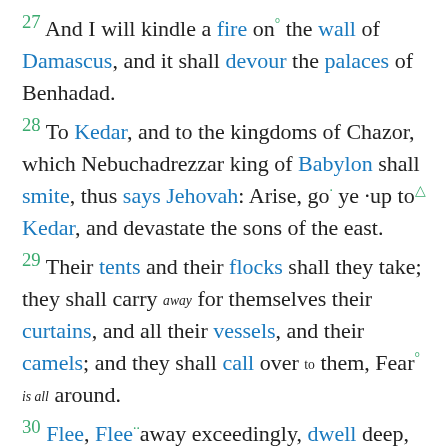27 And I will kindle a fire on° the wall of Damascus, and it shall devour the palaces of Benhadad. 28 To Kedar, and to the kingdoms of Chazor, which Nebuchadrezzar king of Babylon shall smite, thus says Jehovah: Arise, go· ye ·up to△ Kedar, and devastate the sons of the east. 29 Their tents and their flocks shall they take; they shall carry away for themselves their curtains, and all their vessels, and their camels; and they shall call over to them, Fear° is all around. 30 Flee, Flee··away exceedingly, dwell deep, O ye that dwell in Chazor, says° Jehovah; for Nebuchadrezzar king of Babylon has taken